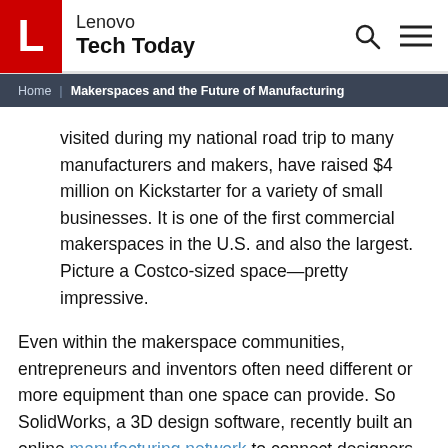Lenovo Tech Today
Home | Makerspaces and the Future of Manufacturing
visited during my national road trip to many manufacturers and makers, have raised $4 million on Kickstarter for a variety of small businesses. It is one of the first commercial makerspaces in the U.S. and also the largest. Picture a Costco-sized space—pretty impressive.
Even within the makerspace communities, entrepreneurs and inventors often need different or more equipment than one space can provide. So SolidWorks, a 3D design software, recently built an online manufacturing network to connect designers and engineers with those who know how to produce at scale.
Makerspace resources